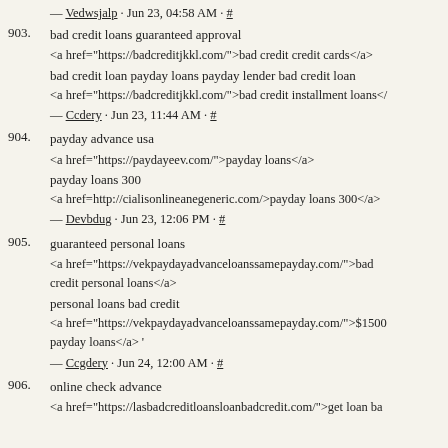— Vedwsjalp · Jun 23, 04:58 AM · #
903. bad credit loans guaranteed approval
<a href="https://badcreditjkkl.com/">bad credit credit cards</a>
bad credit loan payday loans payday lender bad credit loan
<a href="https://badcreditjkkl.com/">bad credit installment loans</a>
— Ccdery · Jun 23, 11:44 AM · #
904. payday advance usa
<a href="https://paydayeev.com/">payday loans</a>
payday loans 300
<a href="http://cialisonlineanegeneric.com/>payday loans 300</a>
— Devbdug · Jun 23, 12:06 PM · #
905. guaranteed personal loans
<a href="https://vekpaydayadvanceloanssamepayday.com/">bad credit personal loans</a>
personal loans bad credit
<a href="https://vekpaydayadvanceloanssamepayday.com/">$1500 payday loans</a> '
— Ccgdery · Jun 24, 12:00 AM · #
906. online check advance
<a href="https://lasbadcreditloansloanbadcredit.com/">get loan ba